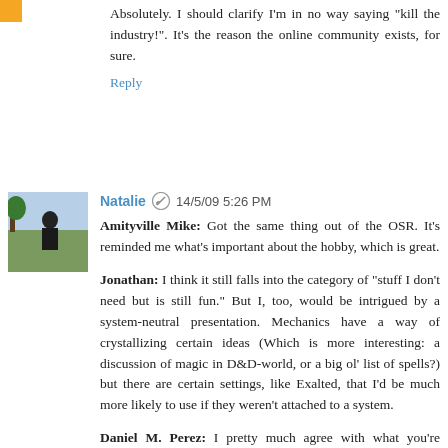Absolutely. I should clarify I'm in no way saying "kill the industry!". It's the reason the online community exists, for sure.
Reply
Natalie  14/5/09 5:26 PM
Amityville Mike: Got the same thing out of the OSR. It's reminded me what's important about the hobby, which is great.

Jonathan: I think it still falls into the category of "stuff I don't need but is still fun." But I, too, would be intrigued by a system-neutral presentation. Mechanics have a way of crystallizing certain ideas (Which is more interesting: a discussion of magic in D&D-world, or a big ol' list of spells?) but there are certain settings, like Exalted, that I'd be much more likely to use if they weren't attached to a system.

Daniel M. Perez: I pretty much agree with what you're saying, especially regarding the historical perspective involved. (The internet changes the game significantly, and